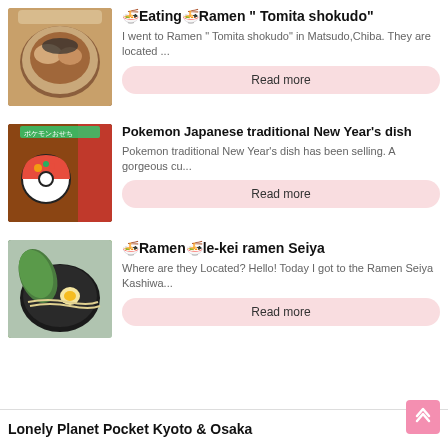[Figure (photo): Bowl of ramen with thick slices of chashu pork and dark broth]
🍜Eating🍜Ramen " Tomita shokudo"
I went to Ramen " Tomita shokudo" in Matsudo,Chiba. They are located ...
Read more
[Figure (photo): Pokemon New Year's dish advertisement with colorful osechi box]
Pokemon Japanese traditional New Year's dish
Pokemon traditional New Year's dish has been selling. A gorgeous cu...
Read more
[Figure (photo): Bowl of ramen with green seaweed and egg]
🍜Ramen🍜le-kei ramen Seiya
Where are they Located? Hello! Today I got to the Ramen Seiya Kashiwa...
Read more
Lonely Planet Pocket Kyoto & Osaka